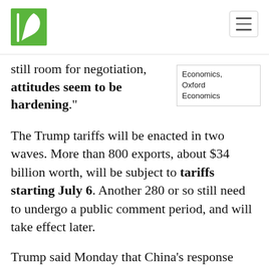Pew Research [logo] [hamburger menu]
still room for negotiation, attitudes seem to be hardening."
Economics, Oxford Economics
The Trump tariffs will be enacted in two waves. More than 800 exports, about $34 billion worth, will be subject to tariffs starting July 6. Another 280 or so still need to undergo a public comment period, and will take effect later.
Trump said Monday that China's response "indicates its determination to keep the United States at a permanent and unfair disadvantage." China's tariffs would target agricultural